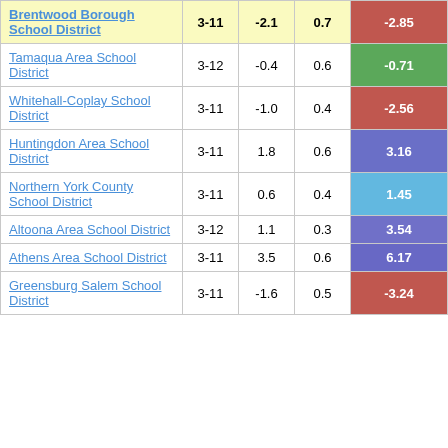| School District | Grades | Col3 | Col4 | Score |
| --- | --- | --- | --- | --- |
| Brentwood Borough School District | 3-11 | -2.1 | 0.7 | -2.85 |
| Tamaqua Area School District | 3-12 | -0.4 | 0.6 | -0.71 |
| Whitehall-Coplay School District | 3-11 | -1.0 | 0.4 | -2.56 |
| Huntingdon Area School District | 3-11 | 1.8 | 0.6 | 3.16 |
| Northern York County School District | 3-11 | 0.6 | 0.4 | 1.45 |
| Altoona Area School District | 3-12 | 1.1 | 0.3 | 3.54 |
| Athens Area School District | 3-11 | 3.5 | 0.6 | 6.17 |
| Greensburg Salem School District | 3-11 | -1.6 | 0.5 | -3.24 |